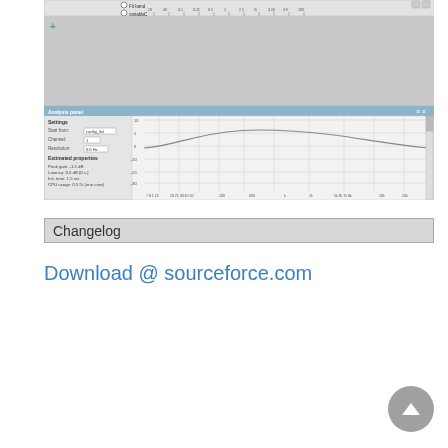[Figure (screenshot): Software application screenshot showing an analysis panel with settings (Start from: config_list, Channel, Resolution), estimated properties (Peak gain: -1.5 dB, Latency, Init time, CPU usage), and a frequency response chart with a gentle curve, along with a toolbar and ruler at the top.]
Changelog
Download @ sourceforce.com